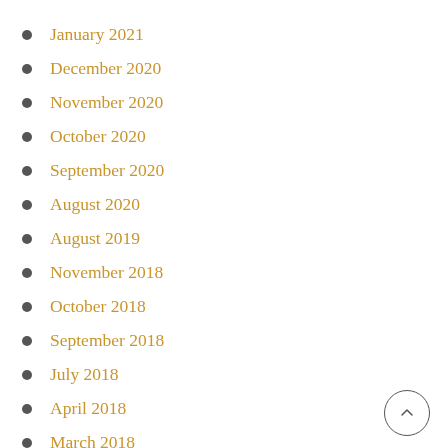January 2021
December 2020
November 2020
October 2020
September 2020
August 2020
August 2019
November 2018
October 2018
September 2018
July 2018
April 2018
March 2018
February 2018